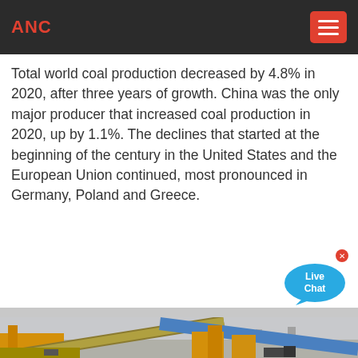ANC
Total world coal production decreased by 4.8% in 2020, after three years of growth. China was the only major producer that increased coal production in 2020, up by 1.1%. The declines that started at the beginning of the century in the United States and the European Union continued, most pronounced in Germany, Poland and Greece.
[Figure (photo): Industrial mining or crushing equipment — large yellow machinery with conveyor belts at an open-air facility, with a hazy sky background.]